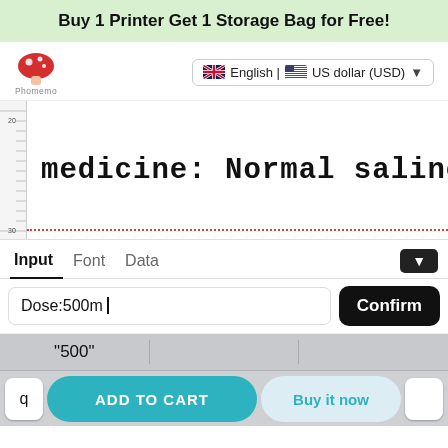Buy 1 Printer Get 1 Storage Bag for Free!
[Figure (logo): Phomemo mushroom logo — red mushroom with white spots, text 'Phomemo' below]
English | US dollar (USD)
[Figure (screenshot): Label preview area showing 'medicine: Normal saline' in large monospace font with ruler on left side and red dotted border line at bottom]
Input  Font  Data
Dose:500m
Confirm
“500”
q
ADD TO CART
Buy it now